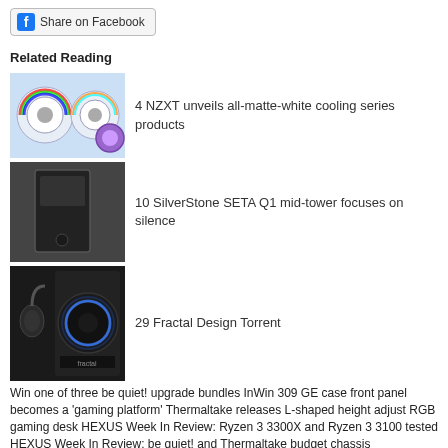[Figure (screenshot): Share on Facebook button with Facebook logo icon]
Related Reading
[Figure (photo): NZXT all-matte-white cooling series product with RGB fans]
4 NZXT unveils all-matte-white cooling series products
[Figure (photo): SilverStone SETA Q1 mid-tower black PC case]
10 SilverStone SETA Q1 mid-tower focuses on silence
[Figure (photo): Fractal Design Torrent case with headphones and RGB fan]
29 Fractal Design Torrent
Win one of three be quiet! upgrade bundles InWin 309 GE case front panel becomes a 'gaming platform' Thermaltake releases L-shaped height adjust RGB gaming desk HEXUS Week In Review: Ryzen 3 3300X and Ryzen 3 3100 tested HEXUS Week In Review: be quiet! and Thermaltake budget chassis
Login | Register
A A A
Full HEXUS Site
About Us - Contact Us - Advertise - T&Cs